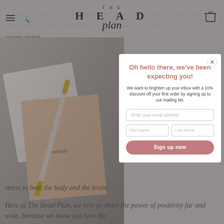THE HEAD plan (logo navigation bar)
weren't. Or pointed out something our were really wrong? If you have, you've been in toxic positivity—and these days, it's wide... you see it on social media
[Figure (photo): Head Plan branded notebooks and pen on a light surface with geometric shadow patterns]
Oh hello there, we've been expecting you!
We want to brighten up your inbox with a 10% discount off your first order by signing up to our mailing list.
Enter your email address
First Name | Last Name
Sign up now
stress to both the body and the brain.
Here at The Head Plan, we love to share the power of positivity far and wide, because we know just how life